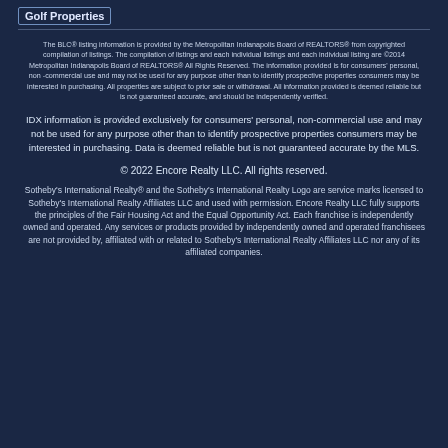Golf Properties
The BLC® listing information is provided by the Metropolitan Indianapolis Board of REALTORS® from copyrighted compilation of listings.  The compilation of listings and each individual listings and each individual listing are ©2014 Metropolitan Indianapolis Board of REALTORS® All Rights Reserved.  The information provided is for consumers' personal, non -commercial use and may not be used for any purpose other than to identify prospective properties consumers may be interested in purchasing.  All properties are subject to prior sale or withdrawal. All information provided is deemed reliable but is not guaranteed accurate, and should be independently verified.
IDX information is provided exclusively for consumers' personal, non-commercial use and may not be used for any purpose other than to identify prospective properties consumers may be interested in purchasing. Data is deemed reliable but is not guaranteed accurate by the MLS.
© 2022 Encore Realty LLC. All rights reserved.
Sotheby's International Realty® and the Sotheby's International Realty Logo are service marks licensed to Sotheby's International Realty Affiliates LLC and used with permission. Encore Realty LLC fully supports the principles of the Fair Housing Act and the Equal Opportunity Act. Each franchise is independently owned and operated. Any services or products provided by independently owned and operated franchisees are not provided by, affiliated with or related to Sotheby's International Realty Affiliates LLC nor any of its affiliated companies.